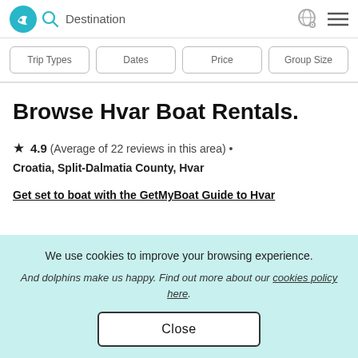Destination
Trip Types
Dates
Price
Group Size
Browse Hvar Boat Rentals.
★ 4.9 (Average of 22 reviews in this area) • Croatia, Split-Dalmatia County, Hvar
Get set to boat with the GetMyBoat Guide to Hvar
We use cookies to improve your browsing experience. And dolphins make us happy. Find out more about our cookies policy here.
Close